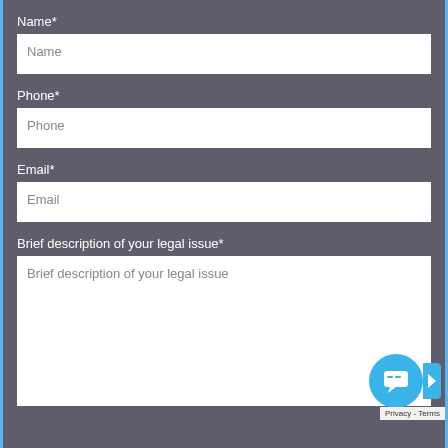Name*
Name
Phone*
Phone
Email*
Email
Brief description of your legal issue*
Brief description of your legal issue
Privacy - Terms